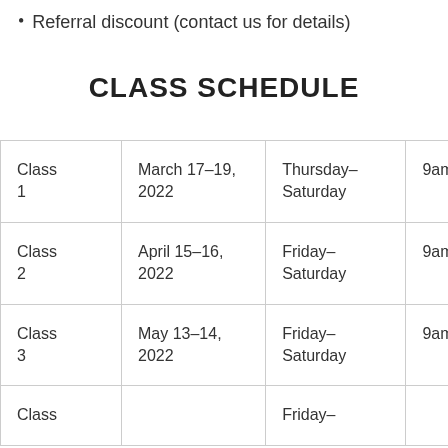Referral discount (contact us for details)
CLASS SCHEDULE
|  | Dates | Days | Hours |
| --- | --- | --- | --- |
| Class 1 | March 17–19, 2022 | Thursday–Saturday | 9am–5 |
| Class 2 | April 15–16, 2022 | Friday–Saturday | 9am–5 |
| Class 3 | May 13–14, 2022 | Friday–Saturday | 9am–5 |
| Class |  | Friday– |  |